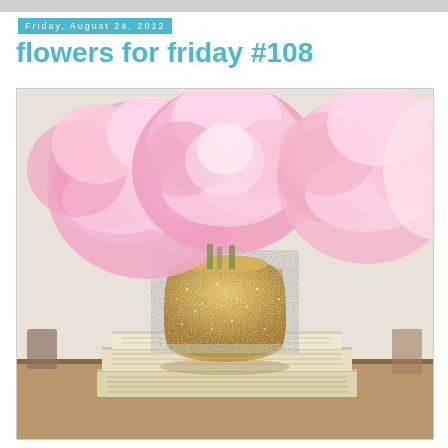Friday, August 24, 2012
flowers for friday #108
[Figure (photo): Pink peony flowers in a gold glitter-covered mason jar vase, sitting on top of stacked cream/white books on a wooden surface]